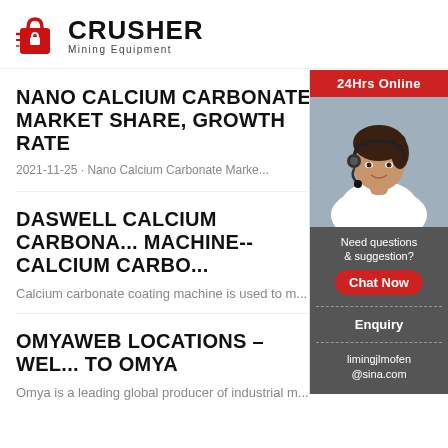[Figure (logo): Crusher Mining Equipment logo with red shopping bag icon and bold CRUSHER text with 'Mining Equipment' subtitle]
NANO CALCIUM CARBONATE MARKET SHARE, GROWTH RATE
2021-11-25 · Nano Calcium Carbonate Marke...
DASWELL CALCIUM CARBONA... MACHINE--CALCIUM CARBO...
Calcium carbonate coating machine is used to m...
OMYAWEB LOCATIONS – WEL... TO OMYA
Omya is a leading global producer of industrial m...
[Figure (photo): Sidebar with 24Hrs Online label, photo of woman with headset, Need questions & suggestion? text, Chat Now button, Enquiry section, and limingjlmofen@sina.com email]